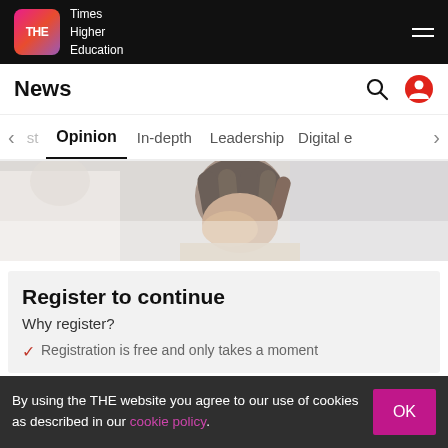THE Times Higher Education
News
Opinion  In-depth  Leadership  Digital e
[Figure (photo): Person with head bowed, hand covering face, appearing distressed, with blurred background]
Register to continue
Why register?
Registration is free and only takes a moment
By using the THE website you agree to our use of cookies as described in our cookie policy.